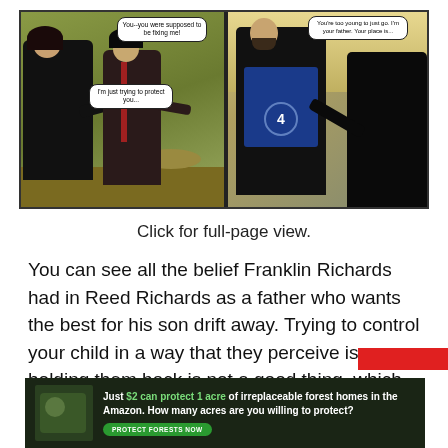[Figure (illustration): Two-panel comic strip. Left panel: a dark-haired woman in black suit and a young man arguing outdoors. Speech bubbles: 'You--you were supposed to be fixing me!' and 'I'm just trying to protect you...' Right panel: a bearded man in a blue-and-black Fantastic Four uniform with the '4' logo, speaking to a shadowy figure. Speech bubble: 'You're too young to just go. I'm your father. Your place is...']
Click for full-page view.
You can see all the belief Franklin Richards had in Reed Richards as a father who wants the best for his son drift away. Trying to control your child in a way that they perceive is holding them back is not a good thing, which Reed is now quickly learning.
[Figure (infographic): Advertisement banner with dark green background. Shows an image of a forest/nature scene with an animal, and text: 'Just $2 can protect 1 acre of irreplaceable forest homes in the Amazon. How many acres are you willing to protect?' with a green 'PROTECT FORESTS NOW' button.]